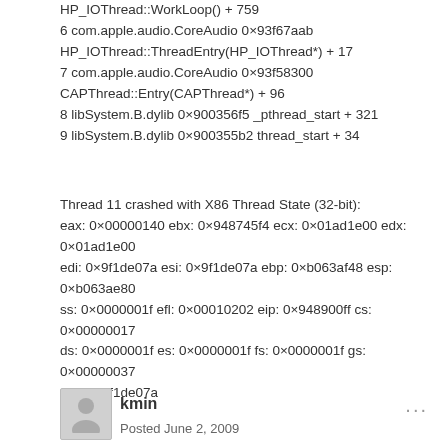HP_IOThread::WorkLoop() + 759
6 com.apple.audio.CoreAudio 0x93f67aab HP_IOThread::ThreadEntry(HP_IOThread*) + 17
7 com.apple.audio.CoreAudio 0x93f58300 CAPThread::Entry(CAPThread*) + 96
8 libSystem.B.dylib 0x900356f5 _pthread_start + 321
9 libSystem.B.dylib 0x900355b2 thread_start + 34
Thread 11 crashed with X86 Thread State (32-bit):
eax: 0x00000140 ebx: 0x948745f4 ecx: 0x01ad1e00 edx: 0x01ad1e00
edi: 0x9f1de07a esi: 0x9f1de07a ebp: 0xb063af48 esp: 0xb063ae80
ss: 0x0000001f efl: 0x00010202 eip: 0x948900ff cs: 0x00000017
ds: 0x0000001f es: 0x0000001f fs: 0x0000001f gs: 0x00000037
cr2: 0x9f1de07a
kmin
Posted June 2, 2009